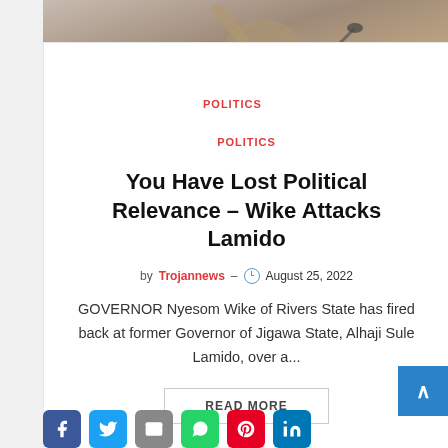[Figure (photo): Person raising hand at a microphone podium, wearing beige/tan clothing]
POLITICS
You Have Lost Political Relevance – Wike Attacks Lamido
by Trojannews – August 25, 2022
GOVERNOR Nyesom Wike of Rivers State has fired back at former Governor of Jigawa State, Alhaji Sule Lamido, over a...
READ MORE